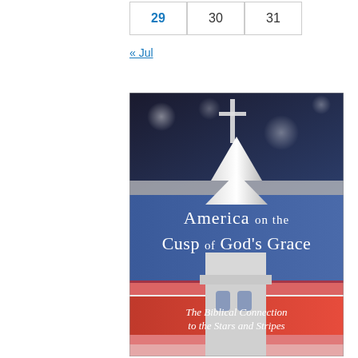| 29 | 30 | 31 |
« Jul
[Figure (illustration): Book cover for 'America on the Cusp of God's Grace: The Biblical Connection to the Stars and Stripes'. Shows a church steeple with a cross against an American flag background (red, white, blue with stars). Title text in white/silver on a dark blue banner; subtitle in white italic text on a red banner.]